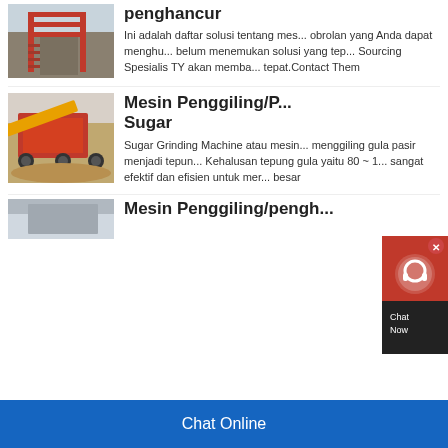[Figure (photo): Industrial red metal structure/crusher machine at a construction or mining site]
penghancur
Ini adalah daftar solusi tentang mes... obrolan yang Anda dapat menghub... belum menemukan solusi yang tep... Sourcing Spesialis TY akan memba... tepat.Contact Them
[Figure (photo): Red and yellow mobile crushing/screening machine on sandy ground]
Mesin Penggiling/P... Sugar
Sugar Grinding Machine atau mesin... menggiling gula pasir menjadi tepun... Kehalusan tepung gula yaitu 80 ~ 1... sangat efektif dan efisien untuk me... besar
Mesin Penggiling/pengh...
[Figure (photo): Partially visible industrial machine image at bottom]
[Figure (screenshot): Chat Now widget overlay with red circular icon and black panel]
Chat Online